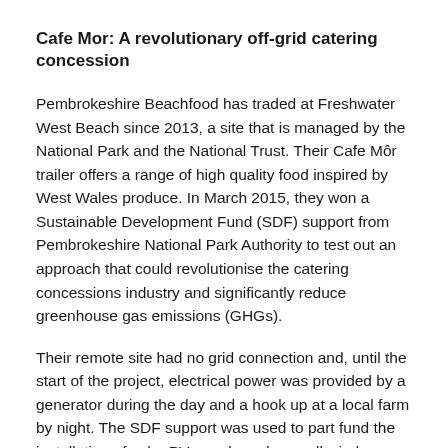Cafe Mor: A revolutionary off-grid catering concession
Pembrokeshire Beachfood has traded at Freshwater West Beach since 2013, a site that is managed by the National Park and the National Trust. Their Cafe Môr trailer offers a range of high quality food inspired by West Wales produce. In March 2015, they won a Sustainable Development Fund (SDF) support from Pembrokeshire National Park Authority to test out an approach that could revolutionise the catering concessions industry and significantly reduce greenhouse gas emissions (GHGs).
Their remote site had no grid connection and, until the start of the project, electrical power was provided by a generator during the day and a hook up at a local farm by night. The SDF support was used to part fund the installation of solar PV panels and a small wind turbine, along with a solar inverter and a battery bank. The system removed the need for a noisy, carbon-fuelled petrol generator by day, and reduced electrical demand at night (with mains electricity used to top up the batteries if required, rather